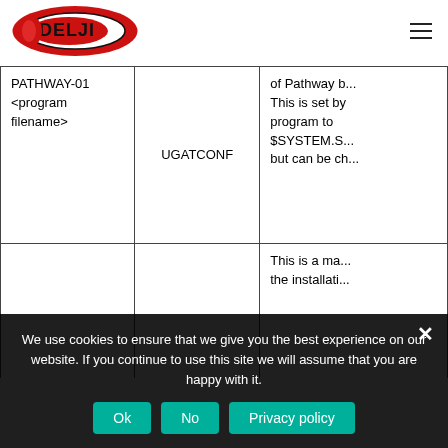[Figure (logo): Idelji company logo - red oval with IDELJI text in black]
| PATHWAY-01 <program filename> | UGATCONF | of Pathway b... This is set by program to $SYSTEM.S... but can be ch... |
|  |  | This is a ma... the installati... |
We use cookies to ensure that we give you the best experience on our website. If you continue to use this site we will assume that you are happy with it.